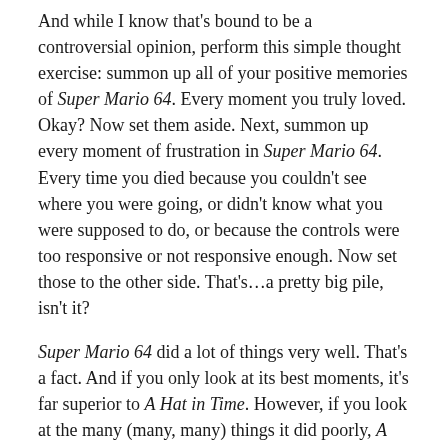And while I know that's bound to be a controversial opinion, perform this simple thought exercise: summon up all of your positive memories of Super Mario 64. Every moment you truly loved. Okay? Now set them aside. Next, summon up every moment of frustration in Super Mario 64. Every time you died because you couldn't see where you were going, or didn't know what you were supposed to do, or because the controls were too responsive or not responsive enough. Now set those to the other side. That's…a pretty big pile, isn't it?
Super Mario 64 did a lot of things very well. That's a fact. And if you only look at its best moments, it's far superior to A Hat in Time. However, if you look at the many (many, many) things it did poorly, A Hat in Time is the clear winner. It has its low points as well, but they aren't as low, and certainly aren't as numerous.